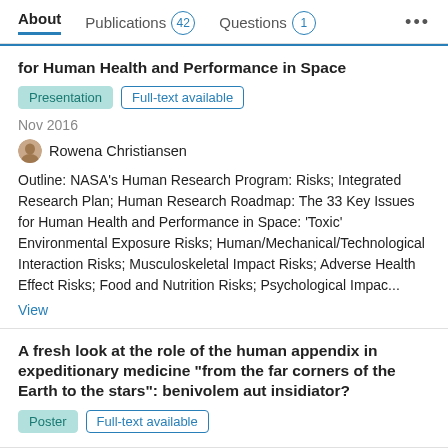About   Publications 42   Questions 1   ...
for Human Health and Performance in Space
Presentation   Full-text available
Nov 2016
Rowena Christiansen
Outline: NASA’s Human Research Program: Risks; Integrated Research Plan; Human Research Roadmap: The 33 Key Issues for Human Health and Performance in Space: ‘Toxic’ Environmental Exposure Risks; Human/Mechanical/Technological Interaction Risks; Musculoskeletal Impact Risks; Adverse Health Effect Risks; Food and Nutrition Risks; Psychological Impac...
View
A fresh look at the role of the human appendix in expeditionary medicine “from the far corners of the Earth to the stars”: benivolem aut insidiator?
Poster   Full-text available